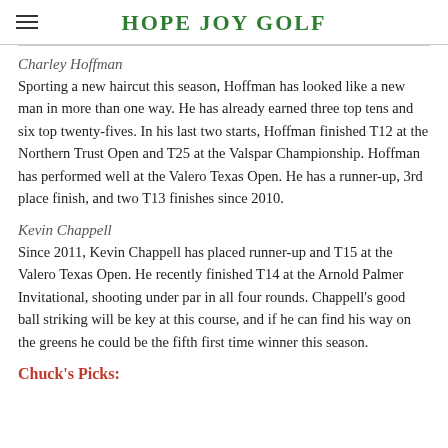HOPE JOY GOLF
Charley Hoffman
Sporting a new haircut this season, Hoffman has looked like a new man in more than one way. He has already earned three top tens and six top twenty-fives. In his last two starts, Hoffman finished T12 at the Northern Trust Open and T25 at the Valspar Championship. Hoffman has performed well at the Valero Texas Open. He has a runner-up, 3rd place finish, and two T13 finishes since 2010.
Kevin Chappell
Since 2011, Kevin Chappell has placed runner-up and T15 at the Valero Texas Open. He recently finished T14 at the Arnold Palmer Invitational, shooting under par in all four rounds. Chappell's good ball striking will be key at this course, and if he can find his way on the greens he could be the fifth first time winner this season.
Chuck's Picks: